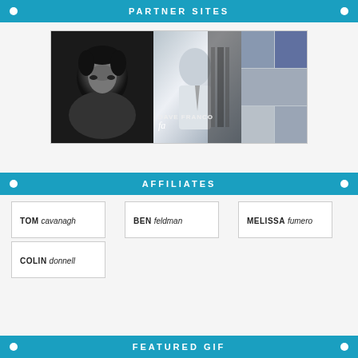PARTNER SITES
[Figure (photo): Collage of actor photos: large black-and-white portrait on left, Dave Franco fan site banner in center with signature text 'DAVE FRANCO fa...', grid of smaller color photos on right]
AFFILIATES
TOM cavanagh
BEN feldman
MELISSA fumero
COLIN donnell
FEATURED GIF